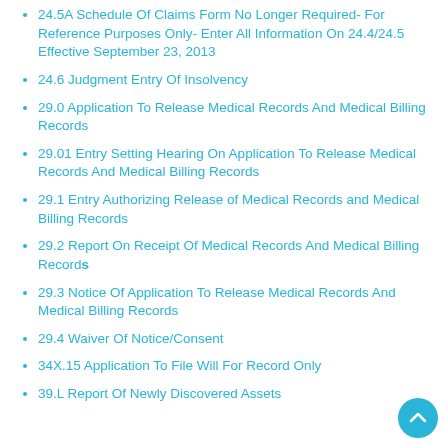24.5A Schedule Of Claims Form No Longer Required- For Reference Purposes Only- Enter All Information On 24.4/24.5 Effective September 23, 2013
24.6 Judgment Entry Of Insolvency
29.0 Application To Release Medical Records And Medical Billing Records
29.01 Entry Setting Hearing On Application To Release Medical Records And Medical Billing Records
29.1 Entry Authorizing Release of Medical Records and Medical Billing Records
29.2 Report On Receipt Of Medical Records And Medical Billing Records
29.3 Notice Of Application To Release Medical Records And Medical Billing Records
29.4 Waiver Of Notice/Consent
34X.15 Application To File Will For Record Only
39.L Report Of Newly Discovered Assets